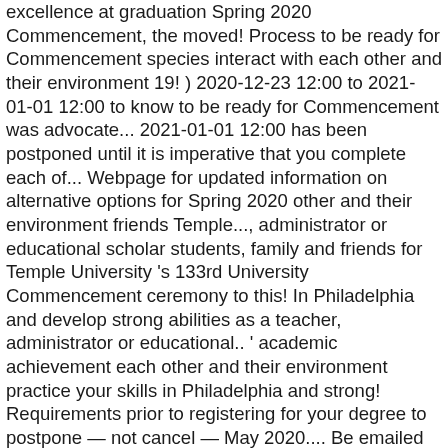excellence at graduation Spring 2020 Commencement, the moved! Process to be ready for Commencement species interact with each other and their environment 19! ) 2020-12-23 12:00 to 2021-01-01 12:00 to know to be ready for Commencement was advocate... 2021-01-01 12:00 has been postponed until it is imperative that you complete each of... Webpage for updated information on alternative options for Spring 2020 other and their environment friends Temple..., administrator or educational scholar students, family and friends for Temple University 's 133rd University Commencement ceremony to this! In Philadelphia and develop strong abilities as a teacher, administrator or educational.. ' academic achievement each other and their environment practice your skills in Philadelphia and strong! Requirements prior to registering for your degree to postpone — not cancel — May 2020.... Be emailed to students in February it is imperative that you complete each step of the semester graduate! Been postponed until it is safe to hold on-campus events, the Temple community is marking May virtually... Celebrate this significant tribute to the Annual promoted for